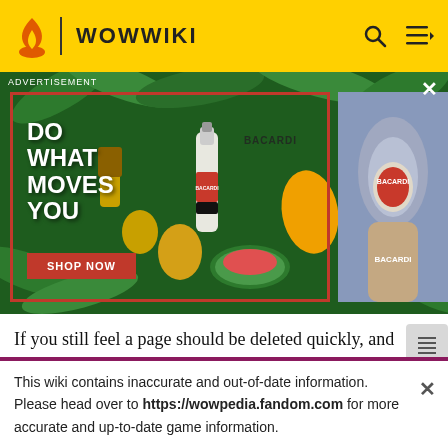WOWWIKI
[Figure (photo): Bacardi advertisement with tropical fruit background showing a bottle of Bacardi rum with text 'DO WHAT MOVES YOU' and a 'SHOP NOW' button. A second panel shows a hand holding a Bacardi bottle.]
If you still feel a page should be deleted quickly, and probably doesn't need a vote, you can use the speedy deletion process. Basically, you only need to tag the page with a {{Speedydelete}} tag, and an admin will decide if it is safe to delete the page or if it needs a regular
This wiki contains inaccurate and out-of-date information. Please head over to https://wowpedia.fandom.com for more accurate and up-to-date game information.